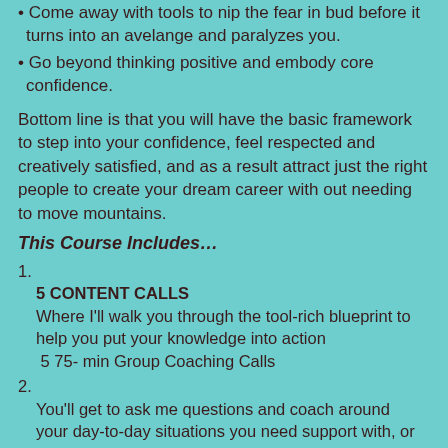• Come away with tools to nip the fear in bud before it turns into an avelange and paralyzes you.
• Go beyond thinking positive and embody core confidence.
Bottom line is that you will have the basic framework to step into your confidence, feel respected and creatively satisfied, and as a result attract just the right people to create your dream career with out needing to move mountains.
This Course Includes…
1. 5 CONTENT CALLS
Where I'll walk you through the tool-rich blueprint to help you put your knowledge into action
5 75- min Group Coaching Calls
2. You'll get to ask me questions and coach around your day-to-day situations you need support with, or work together to create more of what you want.
3. A recording of all of the content and coaching calls
So you don't have to worry about missing anything